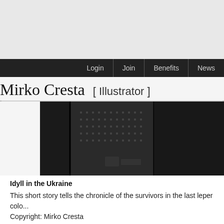Login | Join | Benefits | News
Mirko Cresta  [ Illustrator ]
[Figure (photo): Dark, moody black and white photograph showing what appears to be a subway train or industrial interior with dark panels and a dotted/perforated surface in the center.]
Idyll in the Ukraine
This short story tells the chronicle of the survivors in the last leper colo... Copyright: Mirko Cresta
[Figure (photo): Partial view of a black and white photograph showing a plant leaf/frond silhouette on the left and what appears to be a camera or optical equipment on the right.]